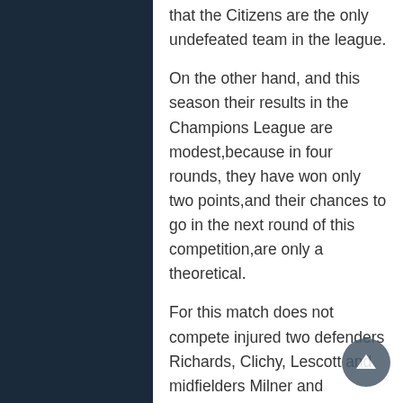that the Citizens are the only undefeated team in the league.
On the other hand, and this season their results in the Champions League are modest,because in four rounds, they have won only two points,and their chances to go in the next round of this competition,are only a theoretical.
For this match does not compete injured two defenders Richards, Clichy, Lescott and midfielders Milner and Rodwell.
Real Madrid Preview
As opposed to Man City, players from Madrid despite the winning only a one point in two duels with Borussia, still have